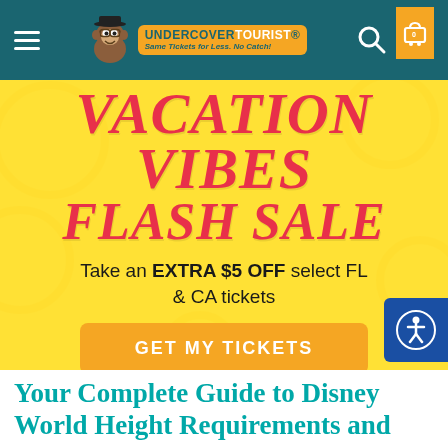[Figure (screenshot): Undercover Tourist website navigation bar with teal background, hamburger menu, monkey logo, search icon, and cart icon]
[Figure (infographic): Vacation Vibes Flash Sale yellow banner with red italic text reading VACATION VIBES FLASH SALE, promotion text, and orange GET MY TICKETS button]
Take an EXTRA $5 OFF select FL & CA tickets
Offer applied in cart.
Expires midnight 8/30/22.
Your Complete Guide to Disney World Height Requirements and